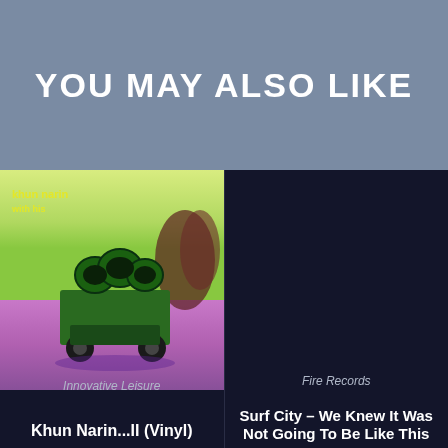YOU MAY ALSO LIKE
[Figure (photo): Album cover: a green loudspeaker truck in a purple field with yellow-green sky, text overlay in yellow]
Innovative Leisure
Khun Narin...II (Vinyl)
[Figure (photo): Dark navy background, no visible image content]
Fire Records
Surf City – We Knew It Was Not Going To Be Like This